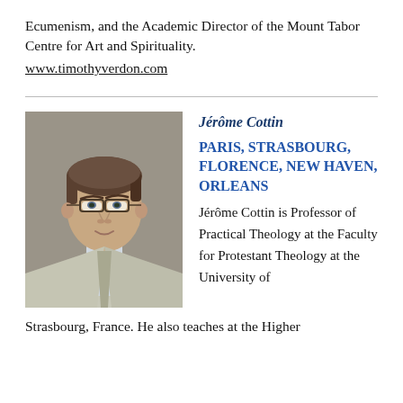Ecumenism, and the Academic Director of the Mount Tabor Centre for Art and Spirituality.
www.timothyverdon.com
[Figure (photo): Portrait photograph of Jérôme Cottin, a middle-aged man wearing glasses, a light grey suit jacket, and a red tie, photographed outdoors.]
Jérôme Cottin
PARIS, STRASBOURG, FLORENCE, NEW HAVEN, ORLEANS
Jérôme Cottin is Professor of Practical Theology at the Faculty for Protestant Theology at the University of
Strasbourg, France. He also teaches at the Higher